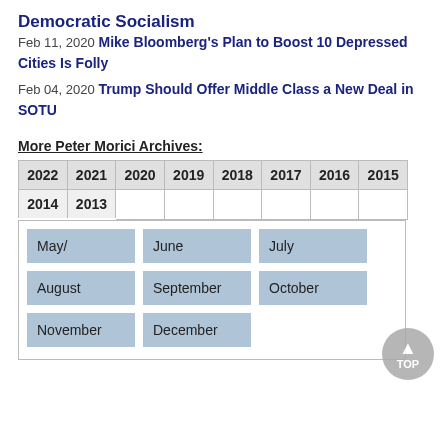Democratic Socialism
Feb 11, 2020 Mike Bloomberg's Plan to Boost 10 Depressed Cities Is Folly
Feb 04, 2020 Trump Should Offer Middle Class a New Deal in SOTU
More Peter Morici Archives:
| 2022 | 2021 | 2020 | 2019 | 2018 | 2017 | 2016 | 2015 | 2014 | 2013 |
| --- | --- | --- | --- | --- | --- | --- | --- | --- | --- |
| May/ | June | July | August | September | October | November | December |
| --- | --- | --- | --- | --- | --- | --- | --- |